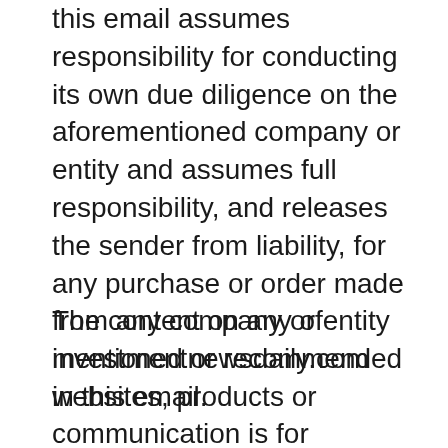this email assumes responsibility for conducting its own due diligence on the aforementioned company or entity and assumes full responsibility, and releases the sender from liability, for any purchase or order made from any company or entity mentioned or recommended in this email.
The content on any of investmentnewsdaily.com websites, products or communication is for educational purposes only. Nothing in its products, services, or communications shall be construed as a solicitation and/or recommendation to buy or sell a security. Trading stocks, options and other securities involves risk. The risk of loss in trading securities can be substantial. The risk